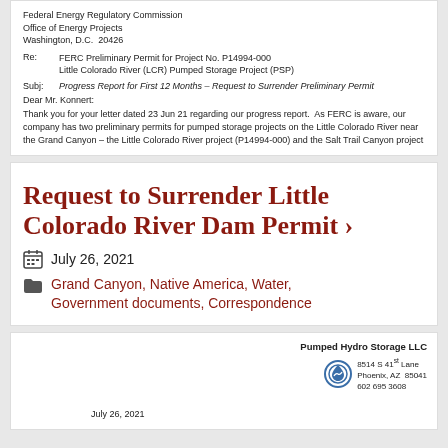Federal Energy Regulatory Commission
Office of Energy Projects
Washington, D.C.  20426
Re:    FERC Preliminary Permit for Project No. P14994-000
        Little Colorado River (LCR) Pumped Storage Project (PSP)
Subj:  Progress Report for First 12 Months – Request to Surrender Preliminary Permit
Dear Mr. Konnert:
Thank you for your letter dated 23 Jun 21 regarding our progress report.  As FERC is aware, our company has two preliminary permits for pumped storage projects on the Little Colorado River near the Grand Canyon – the Little Colorado River project (P14994-000) and the Salt Trail Canyon project
Request to Surrender Little Colorado River Dam Permit ›
July 26, 2021
Grand Canyon, Native America, Water, Government documents, Correspondence
Pumped Hydro Storage LLC
8514 S 41st Lane
Phoenix, AZ  85041
602 695 3608
July 26, 2021